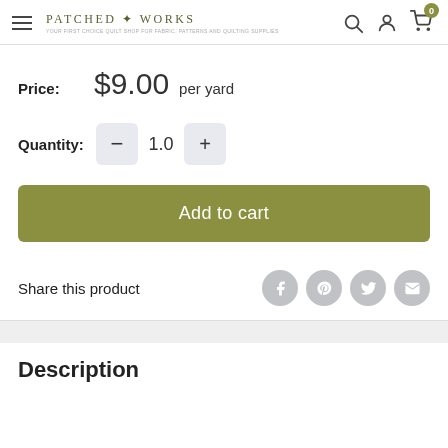Patched Works — navigation header with logo, search, account, and cart icons
Price: $9.00 per yard
Quantity: 1.0
Add to cart
Share this product
Description